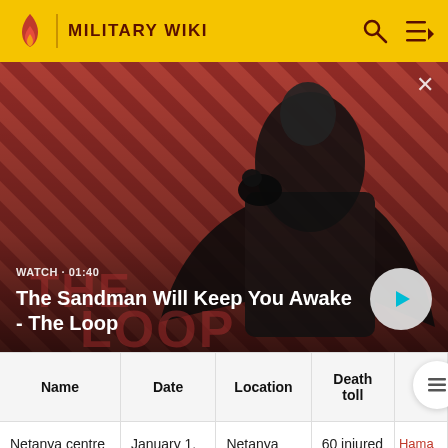MILITARY WIKI
[Figure (screenshot): Video thumbnail for 'The Sandman Will Keep You Awake - The Loop' showing a dark-dressed figure with a raven on shoulder against a red and black diagonal striped background. Shows WATCH · 01:40 label and a play button.]
WATCH · 01:40
The Sandman Will Keep You Awake - The Loop
| Name | Date | Location | Death toll |  |
| --- | --- | --- | --- | --- |
| Netanya centre bombing | January 1, 2001 | Netanya | 60 injured | Hama... respo... |